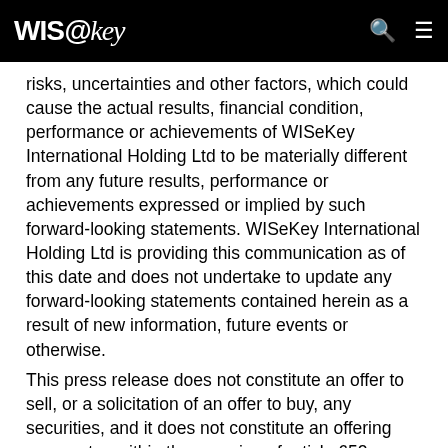WIS@key
risks, uncertainties and other factors, which could cause the actual results, financial condition, performance or achievements of WISeKey International Holding Ltd to be materially different from any future results, performance or achievements expressed or implied by such forward-looking statements. WISeKey International Holding Ltd is providing this communication as of this date and does not undertake to update any forward-looking statements contained herein as a result of new information, future events or otherwise.
This press release does not constitute an offer to sell, or a solicitation of an offer to buy, any securities, and it does not constitute an offering prospectus within the meaning of article 652a or article 1156 of the Swiss Code of Obligations or a listing prospectus within the meaning of the listing rules of the SIX Swiss Exchange.